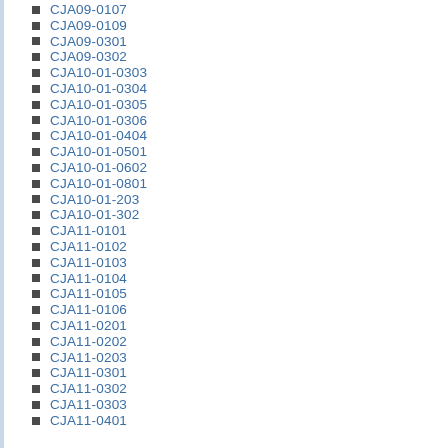CJA09-0107
CJA09-0109
CJA09-0301
CJA09-0302
CJA10-01-0303
CJA10-01-0304
CJA10-01-0305
CJA10-01-0306
CJA10-01-0404
CJA10-01-0501
CJA10-01-0602
CJA10-01-0801
CJA10-01-203
CJA10-01-302
CJA11-0101
CJA11-0102
CJA11-0103
CJA11-0104
CJA11-0105
CJA11-0106
CJA11-0201
CJA11-0202
CJA11-0203
CJA11-0301
CJA11-0302
CJA11-0303
CJA11-0401